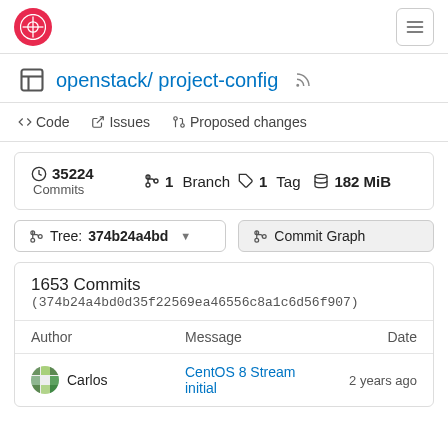Gitea logo | hamburger menu
openstack / project-config
Code | Issues | Proposed changes
35224 Commits | 1 Branch | 1 Tag | 182 MiB
Tree: 374b24a4bd | Commit Graph
1653 Commits (374b24a4bd0d35f22569ea46556c8a1c6d56f907)
| Author | Message | Date |
| --- | --- | --- |
| Carlos | CentOS 8 Stream initial | 2 years ago |